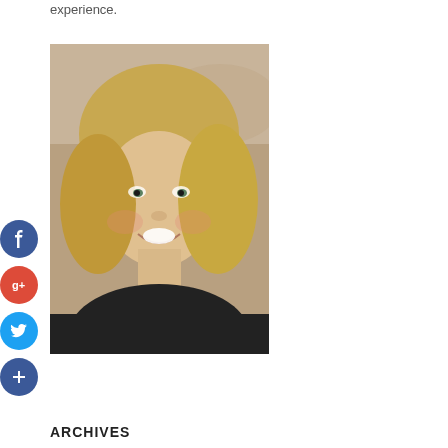experience.
[Figure (photo): Portrait photo of a smiling blonde woman wearing a black top, indoor setting]
[Figure (infographic): Social media share buttons: Facebook (blue circle with f), Google+ (red circle with g+), Twitter (blue circle with bird), Plus/Add (dark blue circle with +)]
ARCHIVES